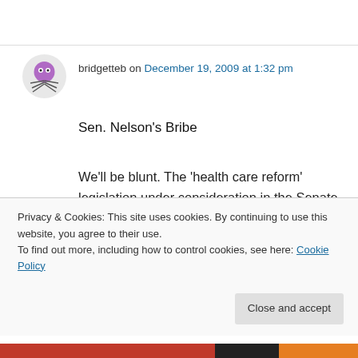bridgetteb on December 19, 2009 at 1:32 pm
Sen. Nelson's Bribe
We'll be blunt. The 'health care reform' legislation under consideration in the Senate is the most corrupt piece of legislation in our nation's history. Yes, we understand that is a strong statement and there have been other abominations throughout our nation's life. But
Privacy & Cookies: This site uses cookies. By continuing to use this website, you agree to their use.
To find out more, including how to control cookies, see here: Cookie Policy
Close and accept